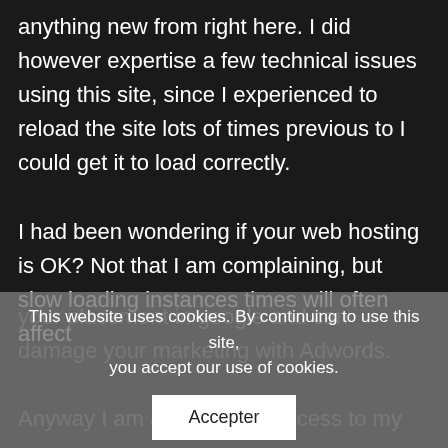anything new from right here. I did however expertise a few technical issues using this site, since I experienced to reload the site lots of times previous to I could get it to load correctly. I had been wondering if your web hosting is OK? Not that I am complaining, but slow loading instances times will often affect
your placement in google and can damage your marketing with Adwords. Anyway I am adding RSS access to my
This website uses cookies. By continuing to use this site, you accept our use of cookies.
Accepter